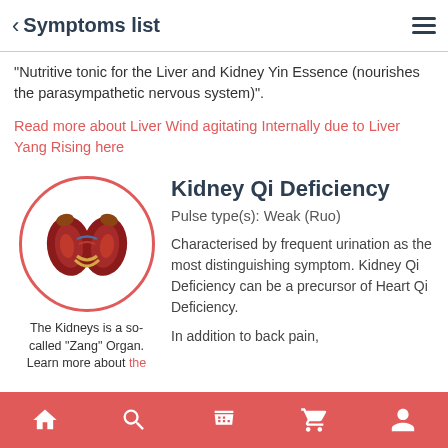< Symptoms list
"Nutritive tonic for the Liver and Kidney Yin Essence (nourishes the parasympathetic nervous system)".
Read more about Liver Wind agitating Internally due to Liver Yang Rising here
[Figure (illustration): Illustration of two kidneys with adrenal glands inside a red circle border]
The Kidneys is a so-called "Zang" Organ. Learn more about the
Kidney Qi Deficiency
Pulse type(s): Weak (Ruo)
Characterised by frequent urination as the most distinguishing symptom. Kidney Qi Deficiency can be a precursor of Heart Qi Deficiency.
In addition to back pain,
Home | Search | Shop | Cart | Profile